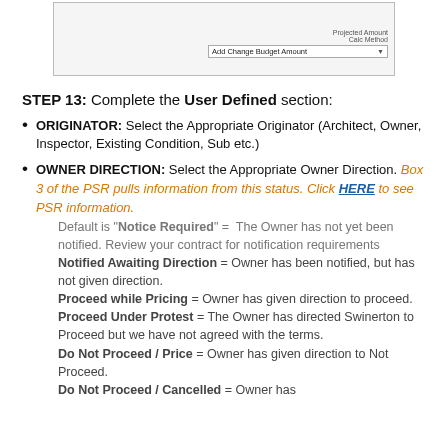[Figure (screenshot): Screenshot of a software interface showing Projected Amount Calc Method field with 'Add Change Budget Amount' dropdown selected]
STEP 13: Complete the User Defined section:
ORIGINATOR: Select the Appropriate Originator (Architect, Owner, Inspector, Existing Condition, Sub etc.)
OWNER DIRECTION: Select the Appropriate Owner Direction. Box 3 of the PSR pulls information from this status. Click HERE to see PSR information.
Default is "Notice Required" = The Owner has not yet been notified. Review your contract for notification requirements
Notified Awaiting Direction = Owner has been notified, but has not given direction.
Proceed while Pricing = Owner has given direction to proceed.
Proceed Under Protest = The Owner has directed Swinerton to Proceed but we have not agreed with the terms.
Do Not Proceed / Price = Owner has given direction to Not Proceed.
Do Not Proceed / Cancelled = Owner has